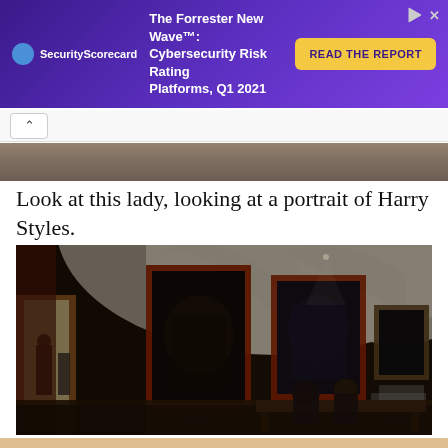[Figure (other): SecurityScorecard advertisement banner with purple gradient background. Text reads: 'The Forrester New Wave™: Cybersecurity Risk Rating Platforms, Q1 2021'. Yellow button says 'READ THE REPORT'.]
[Figure (other): Navigation strip with back chevron button and partial thumbnail strip of a painting/museum image.]
Look at this lady, looking at a portrait of Harry Styles.
[Figure (photo): Interior of a museum gallery with vaulted white ceilings, large dark paintings in red/orange frames on the walls, visitors sitting on a bench looking at the art, and another visitor walking through a doorway in the background.]